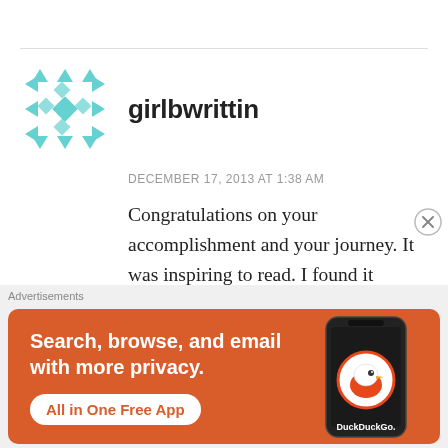[Figure (illustration): Teal geometric/diamond pattern avatar icon for user girlbwrittin]
girlbwrittin
DECEMBER 17, 2013 AT 1:38 AM
Congratulations on your accomplishment and your journey. It was inspiring to read. I found it particularly interesting when you mentioned how you were in it for the journey, for life, rather than for a particular date when your “diet”
Advertisements
[Figure (screenshot): DuckDuckGo advertisement banner: orange background with text 'Search, browse, and email with more privacy. All in One Free App' with DuckDuckGo logo and phone mockup]